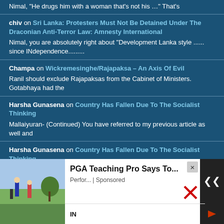Nimal, "He drugs him with a woman that's not his …" That's
chiv on Sri Lanka: Protesters Must Not Be Detained Under The Draconian Anti-Terror Law: Amnesty International
Nimal, you are absolutely right about "Development Lanka style ...... since INdependence.........
Champa on Wickremesinghe/Rajapaksa – An Axis Of Evil
Ranil should exclude Rajapaksas from the Cabinet of Ministers. Gotabhaya had the
Harsha Gunasena on Country Has Fallen Due To The Socialist Thinking
Mallaiyuran- (Continued) You have referred to my previous article as well and
Harsha Gunasena on Country Has Fallen Due To The Socialist Thinking
...e written 1318 word
[Figure (screenshot): Ad overlay: PGA Teaching Pro Says To... Perfor... | Sponsored, with a photo of golfers and close/scroll buttons]